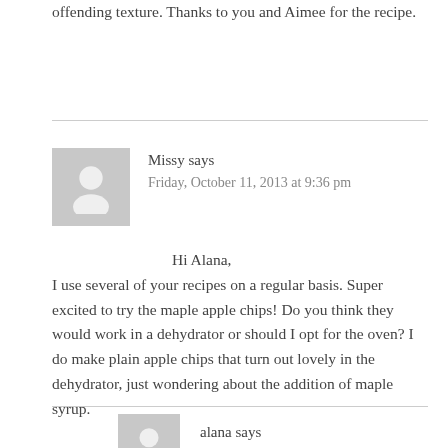offending texture. Thanks to you and Aimee for the recipe.
Missy says
Friday, October 11, 2013 at 9:36 pm
Hi Alana,
I use several of your recipes on a regular basis. Super excited to try the maple apple chips! Do you think they would work in a dehydrator or should I opt for the oven? I do make plain apple chips that turn out lovely in the dehydrator, just wondering about the addition of maple syrup.
alana says